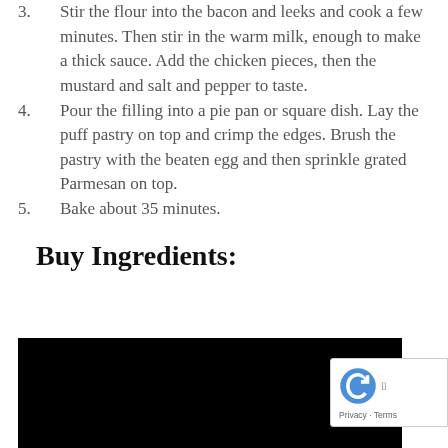3. Stir the flour into the bacon and leeks and cook a few minutes. Then stir in the warm milk, enough to make a thick sauce. Add the chicken pieces, then the mustard and salt and pepper to taste.
4. Pour the filling into a pie pan or square dish. Lay the puff pastry on top and crimp the edges. Brush the pastry with the beaten egg and then sprinkle grated Parmesan on top.
5. Bake about 35 minutes.
Buy Ingredients:
[Figure (photo): Black image area representing a shopping/ingredients widget or embedded video, partially obscured by a reCAPTCHA badge in the bottom right.]